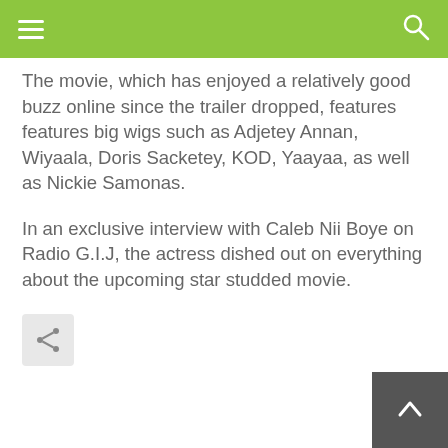The movie, which has enjoyed a relatively good buzz online since the trailer dropped, features features big wigs such as Adjetey Annan, Wiyaala, Doris Sacketey, KOD, Yaayaa, as well as Nickie Samonas.
In an exclusive interview with Caleb Nii Boye on Radio G.I.J, the actress dished out on everything about the upcoming star studded movie.
[Figure (other): Share button icon (a connected nodes/share symbol)]
[Figure (other): Back to top arrow button in dark gray at bottom right]